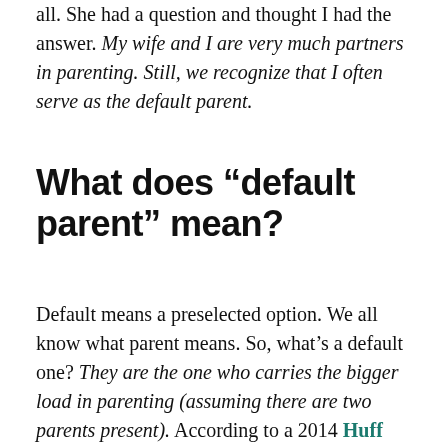all. She had a question and thought I had the answer. My wife and I are very much partners in parenting. Still, we recognize that I often serve as the default parent.
What does “default parent” mean?
Default means a preselected option. We all know what parent means. So, what’s a default one? They are the one who carries the bigger load in parenting (assuming there are two parents present). According to a 2014 Huff Post article, they’re responsible